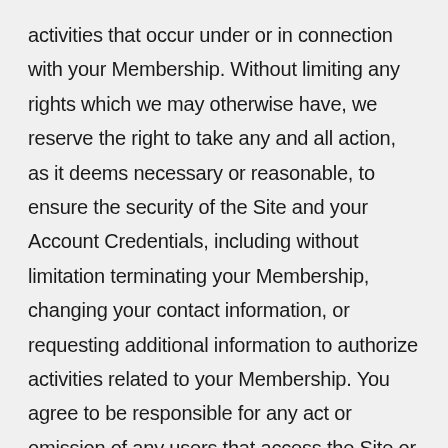activities that occur under or in connection with your Membership. Without limiting any rights which we may otherwise have, we reserve the right to take any and all action, as it deems necessary or reasonable, to ensure the security of the Site and your Account Credentials, including without limitation terminating your Membership, changing your contact information, or requesting additional information to authorize activities related to your Membership. You agree to be responsible for any act or omission of any users that access the Site or Services under your Account Credentials that, if undertaken by you, would be deemed a violation of these Terms of Use. In no event and under no circumstances will Surfrider be held liable to you for any liabilities or damages resulting from or arising out of (i) any action or inaction of